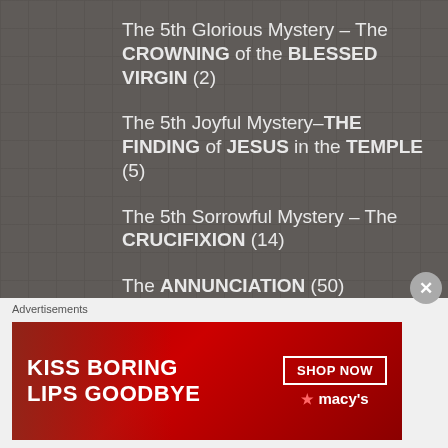The 5th Glorious Mystery – The CROWNING of the BLESSED VIRGIN (2)
The 5th Joyful Mystery–THE FINDING of JESUS in the TEMPLE (5)
The 5th Sorrowful Mystery – The CRUCIFIXION (14)
The ANNUNCIATION (50)
The APOSTLES & EVANGELISTS (310)
The ASCENSION of the LORD (20)
THE ASSUMPTION (51)
The BAPTISM of the LORD (6)
The BEATITUDES (38)
Advertisements
[Figure (photo): Advertisement banner: KISS BORING LIPS GOODBYE – SHOP NOW – Macy's logo]